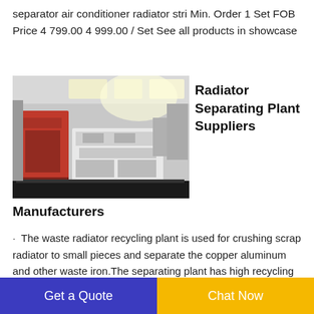separator air conditioner radiator stri Min. Order 1 Set FOB Price 4 799.00 4 999.00 / Set See all products in showcase
[Figure (photo): Industrial radiator separating plant machinery in a factory setting, showing red and white machines on a dark platform]
Radiator Separating Plant Suppliers
Manufacturers
· The waste radiator recycling plant is used for crushing scrap radiator to small pieces and separate the copper aluminum and other waste iron.The separating plant has high recycling efficiency and separating rate( up to 99 ). It can
Get a Quote
Chat Now